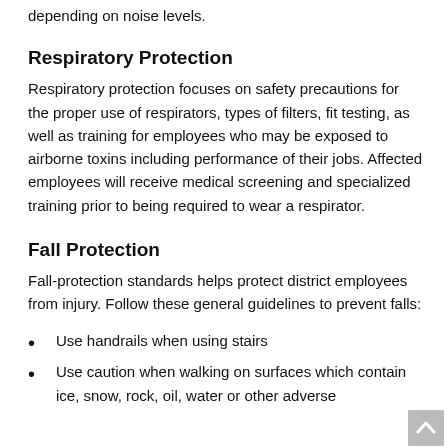depending on noise levels.
Respiratory Protection
Respiratory protection focuses on safety precautions for the proper use of respirators, types of filters, fit testing, as well as training for employees who may be exposed to airborne toxins including performance of their jobs. Affected employees will receive medical screening and specialized training prior to being required to wear a respirator.
Fall Protection
Fall-protection standards helps protect district employees from injury. Follow these general guidelines to prevent falls:
Use handrails when using stairs
Use caution when walking on surfaces which contain ice, snow, rock, oil, water or other adverse